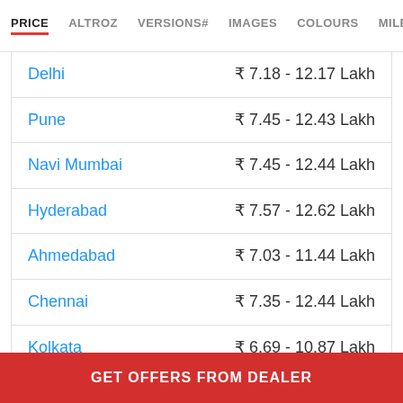PRICE  ALTROZ  VERSIONS#  IMAGES  COLOURS  MILEAGE
| City | Price Range |
| --- | --- |
| Delhi | ₹ 7.18 - 12.17 Lakh |
| Pune | ₹ 7.45 - 12.43 Lakh |
| Navi Mumbai | ₹ 7.45 - 12.44 Lakh |
| Hyderabad | ₹ 7.57 - 12.62 Lakh |
| Ahmedabad | ₹ 7.03 - 11.44 Lakh |
| Chennai | ₹ 7.35 - 12.44 Lakh |
| Kolkata | ₹ 6.69 - 10.87 Lakh |
GET OFFERS FROM DEALER